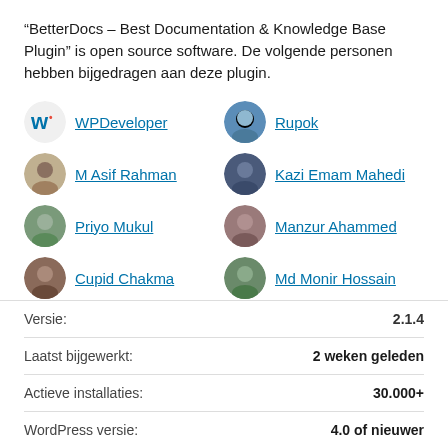“BetterDocs – Best Documentation & Knowledge Base Plugin” is open source software. De volgende personen hebben bijgedragen aan deze plugin.
WPDeveloper
Rupok
M Asif Rahman
Kazi Emam Mahedi
Priyo Mukul
Manzur Ahammed
Cupid Chakma
Md Monir Hossain
| Label | Value |
| --- | --- |
| Versie: | 2.1.4 |
| Laatst bijgewerkt: | 2 weken geleden |
| Actieve installaties: | 30.000+ |
| WordPress versie: | 4.0 of nieuwer |